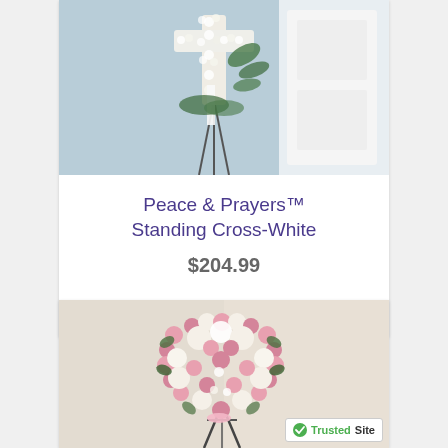[Figure (photo): White floral standing cross arrangement on a metal easel stand, in a room with light blue curtains and white wainscoting panels]
Peace & Prayers™ Standing Cross-White
$204.99
[Figure (photo): Heart-shaped wreath arrangement of pink roses and white mums on a metal easel stand, with cream/beige background]
[Figure (logo): TrustedSite badge with green checkmark]